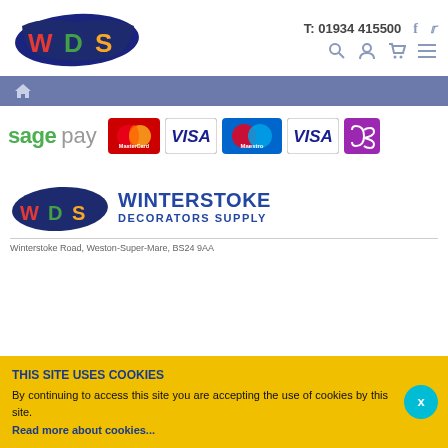[Figure (logo): WDS paintbrush logo with colorful W, D, S letters on dark blue background]
T: 01934 415500
[Figure (logo): Sage Pay logo with payment card icons: MasterCard, VISA, Maestro, VISA, Solo]
[Figure (logo): WDS Winterstoke Decorators Supply logo with company name]
Winterstoke Road, Weston-Super-Mare, BS24 9AA
THIS SITE USES COOKIES
By continuing to access this site you are accepting the use of cookies by this site.
Read more about cookies...